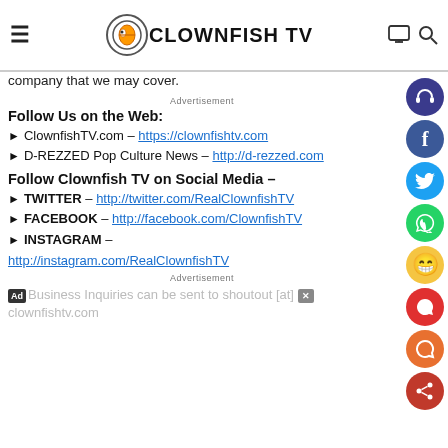Clownfish TV
company that we may cover.
Advertisement
Follow Us on the Web:
ClownfishTV.com – https://clownfishtv.com
D-REZZED Pop Culture News – http://d-rezzed.com
Follow Clownfish TV on Social Media –
TWITTER – http://twitter.com/RealClownfishTV
FACEBOOK – http://facebook.com/ClownfishTV
INSTAGRAM – http://instagram.com/RealClownfishTV
Advertisement
Business Inquiries can be sent to shoutout [at] clownfishtv.com